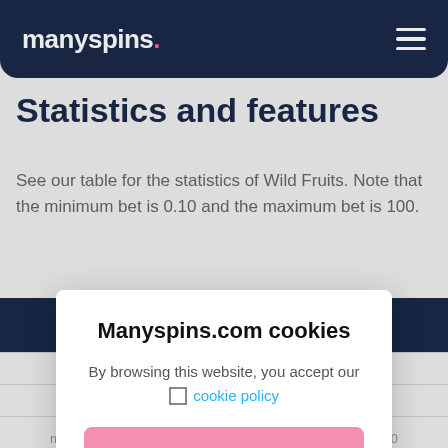manyspins.
Statistics and features
See our table for the statistics of Wild Fruits. Note that the minimum bet is 0.10 and the maximum bet is 100.
Manyspins.com cookies
By browsing this website, you accept our 🍪 cookie policy
accept